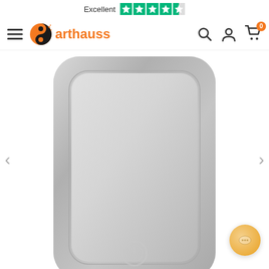[Figure (logo): Trustpilot Excellent rating with 5 green stars (last star partial), text 'Excellent' in dark with Trustpilot star icons]
[Figure (logo): Arthauss logo: black and orange yin-yang sphere icon with orange 'arthauss' text beside it]
[Figure (screenshot): E-commerce navigation bar with hamburger menu, Arthauss logo, search icon, user icon, and cart icon with badge showing 0]
[Figure (photo): Rectangular wall mirror with rounded corners, silver/grey textured frame with marble-like appearance, reflective mirror surface, circular power button icon visible at bottom of the mirror face. Left and right navigation arrows visible. Orange chat support bubble in bottom right.]